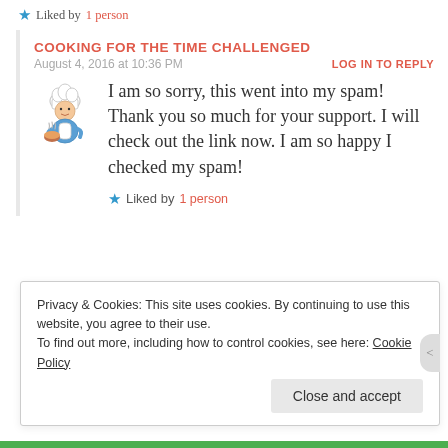★ Liked by 1 person
COOKING FOR THE TIME CHALLENGED
August 4, 2016 at 10:36 PM
LOG IN TO REPLY
[Figure (illustration): Cartoon chef avatar holding a bowl with steam]
I am so sorry, this went into my spam! Thank you so much for your support. I will check out the link now. I am so happy I checked my spam!
★ Liked by 1 person
Privacy & Cookies: This site uses cookies. By continuing to use this website, you agree to their use. To find out more, including how to control cookies, see here: Cookie Policy
Close and accept